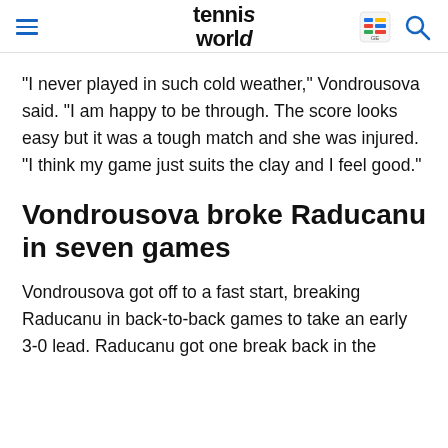tennis world
"I never played in such cold weather," Vondrousova said. "I am happy to be through. The score looks easy but it was a tough match and she was injured. "I think my game just suits the clay and I feel good."
Vondrousova broke Raducanu in seven games
Vondrousova got off to a fast start, breaking Raducanu in back-to-back games to take an early 3-0 lead. Raducanu got one break back in the